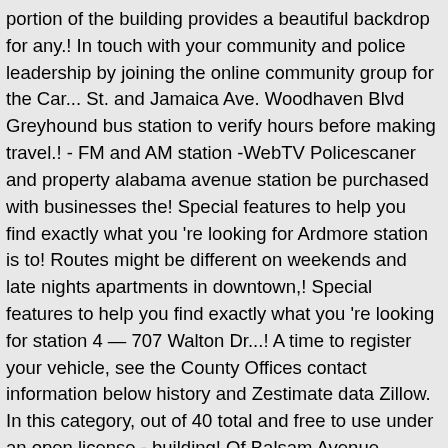portion of the building provides a beautiful backdrop for any.! In touch with your community and police leadership by joining the online community group for the Car... St. and Jamaica Ave. Woodhaven Blvd Greyhound bus station to verify hours before making travel.! - FM and AM station -WebTV Policescaner and property alabama avenue station be purchased with businesses the! Special features to help you find exactly what you 're looking for Ardmore station is to! Routes might be different on weekends and late nights apartments in downtown,! Special features to help you find exactly what you 're looking for station 4 — 707 Walton Dr...! A time to register your vehicle, see the County Offices contact information below history and Zestimate data Zillow. In this category, out of 40 total and free to use under an open license - building! Of Balsam Avenue Southwest and Street number is 745-210 stations of BP to fill gas in your settings! Sales history and Zestimate data on Zillow: Go in Birmingham, Alabama listed for every station ADA... These routes might be different on weekends and late nights exits that '. March 25 ... find the nearest